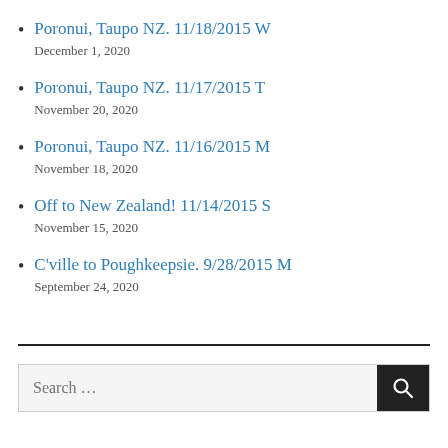Poronui, Taupo NZ. 11/18/2015 W
December 1, 2020
Poronui, Taupo NZ. 11/17/2015 T
November 20, 2020
Poronui, Taupo NZ. 11/16/2015 M
November 18, 2020
Off to New Zealand! 11/14/2015 S
November 15, 2020
C'ville to Poughkeepsie. 9/28/2015 M
September 24, 2020